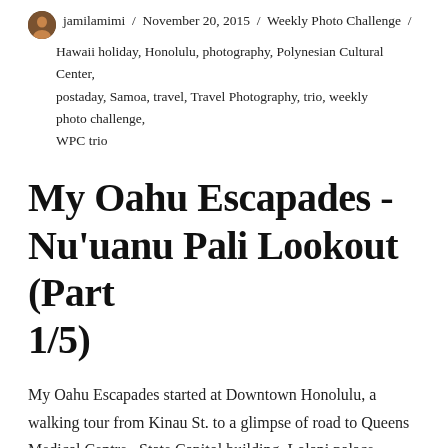jamilamimi / November 20, 2015 / Weekly Photo Challenge / Hawaii holiday, Honolulu, photography, Polynesian Cultural Center, postaday, Samoa, travel, Travel Photography, trio, weekly photo challenge, WPC trio
My Oahu Escapades - Nu'uanu Pali Lookout (Part 1/5)
My Oahu Escapades started at Downtown Honolulu, a walking tour from Kinau St. to a glimpse of road to Queens Medical Centre , State Capitol building ,Lolani palace, Hawaiian Mission Houses ,Hotel St. , Art Museum to Al Moana Blvd. And before the sun goes down, we drove to Waikalani drive to Pali point, a breathtaking view of Oahu's Windward coast.